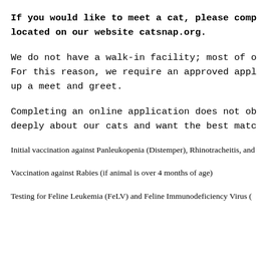If you would like to meet a cat, please complete the form located on our website catsnap.org.
We do not have a walk-in facility; most of our cats are in foster homes. For this reason, we require an approved application before we can set up a meet and greet.
Completing an online application does not obligate you to adopt. We care deeply about our cats and want the best match for you and for them.
Initial vaccination against Panleukopenia (Distemper), Rhinotracheitis, and Calicivirus
Vaccination against Rabies (if animal is over 4 months of age)
Testing for Feline Leukemia (FeLV) and Feline Immunodeficiency Virus (FIV)